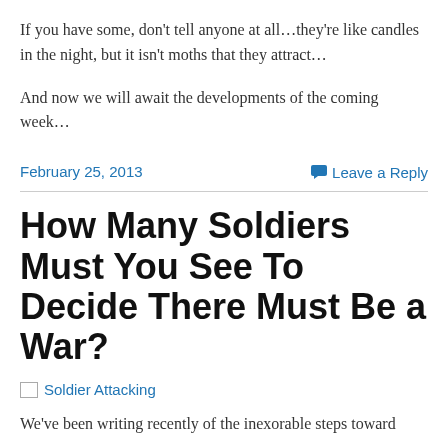If you have some, don't tell anyone at all…they're like candles in the night, but it isn't moths that they attract…
And now we will await the developments of the coming week…
February 25, 2013
Leave a Reply
How Many Soldiers Must You See To Decide There Must Be a War?
[Figure (photo): Broken image placeholder with alt text 'Soldier Attacking']
We've been writing recently of the inexorable steps toward